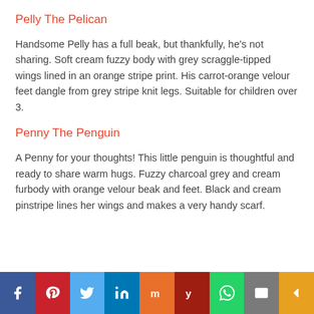Pelly The Pelican
Handsome Pelly has a full beak, but thankfully, he's not sharing. Soft cream fuzzy body with grey scraggle-tipped wings lined in an orange stripe print. His carrot-orange velour feet dangle from grey stripe knit legs. Suitable for children over 3.
Penny The Penguin
A Penny for your thoughts! This little penguin is thoughtful and ready to share warm hugs. Fuzzy charcoal grey and cream furbody with orange velour beak and feet. Black and cream pinstripe lines her wings and makes a very handy scarf.
f  p  twitter  in  mix  y  whatsapp  email  share